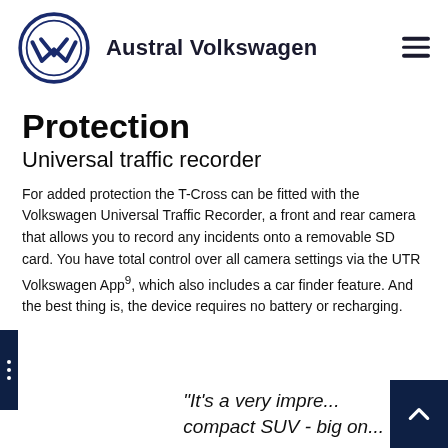Austral Volkswagen
Protection
Universal traffic recorder
For added protection the T-Cross can be fitted with the Volkswagen Universal Traffic Recorder, a front and rear camera that allows you to record any incidents onto a removable SD card. You have total control over all camera settings via the UTR Volkswagen App9, which also includes a car finder feature. And the best thing is, the device requires no battery or recharging.
"It's a very impre... compact SUV - big on...